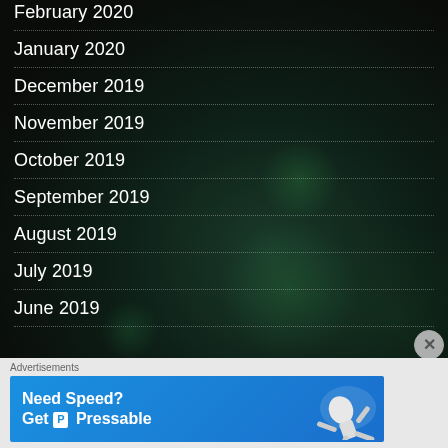February 2020
January 2020
December 2019
November 2019
October 2019
September 2019
August 2019
July 2019
June 2019
Advertisements
[Figure (illustration): Blue advertisement banner reading 'Need Speed? Get Pressable' with a figure of a person flying/diving]